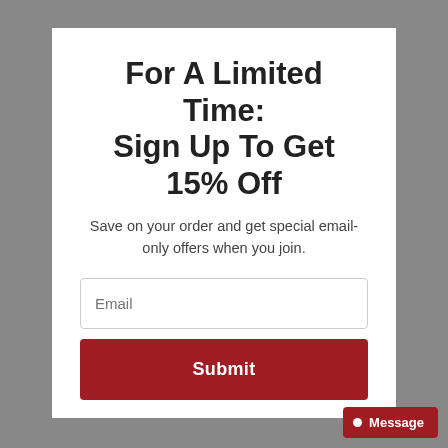For A Limited Time: Sign Up To Get 15% Off
Save on your order and get special email-only offers when you join.
Email
Submit
Message